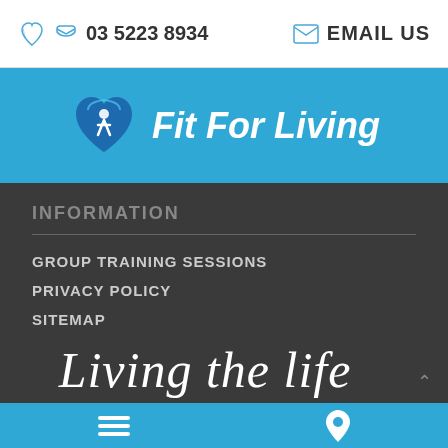03 5223 8934   EMAIL US
[Figure (logo): Fit For Living logo — heart shape with figure, text 'Fit For Living' in italic white on blue background]
INFORMATION
GROUP TRAINING SESSIONS
PRIVACY POLICY
SITEMAP
Living the life
Navigation bar with menu and map pin icons